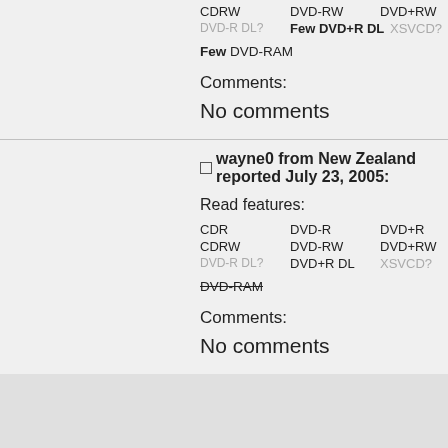CDRW  DVD-RW  DVD+RW  XVCD?  SVCDSubs?  DVD-R DL?  Few DVD+R DL  XSVCD?  SVCDTracks?  CVD?
Few DVD-RAM
Comments:
No comments
wayne0 from New Zealand reported July 23, 2005:
Read features:
CDR  DVD-R  DVD+R  VCD?  SVCD?  MP3?  CDRW  DVD-RW  DVD+RW  XVCD?  SVCDSubs?  DVD-R DL?  DVD+R DL  XSVCD?  SVCDTracks?  CVD?
DVD-RAM
Comments:
No comments